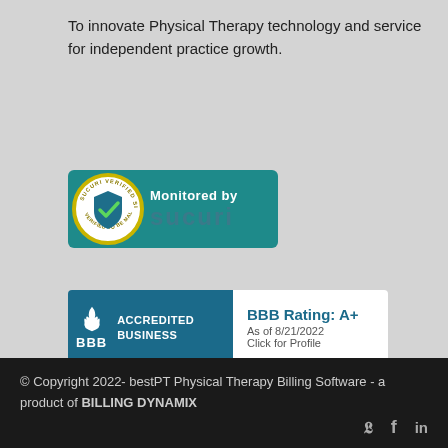To innovate Physical Therapy technology and service for independent practice growth.
[Figure (logo): Sucuri Verified Site - Monitored by Sucuri badge with teal background and circular seal]
[Figure (logo): BBB Accredited Business badge with BBB Rating A+ as of 8/21/2022 - Click for Profile]
© Copyright 2022- bestPT Physical Therapy Billing Software - a product of BILLING DYNAMIX